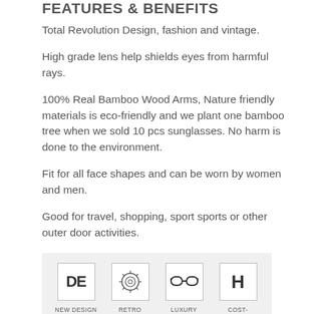FEATURES & BENEFITS
Total Revolution Design, fashion and vintage.
High grade lens help shields eyes from harmful rays.
100% Real Bamboo Wood Arms, Nature friendly materials is eco-friendly and we plant one bamboo tree when we sold 10 pcs sunglasses. No harm is done to the environment.
Fit for all face shapes and can be worn by women and men.
Good for travel, shopping, sport sports or other outer door activities.
[Figure (infographic): Four icons: DE (NEW DESIGN), retro ornament icon (RETRO), sunglasses icon (LUXURY), H (COST-EFFECTIVE)]
PRODUCT PROPERTIES
INFORMATION